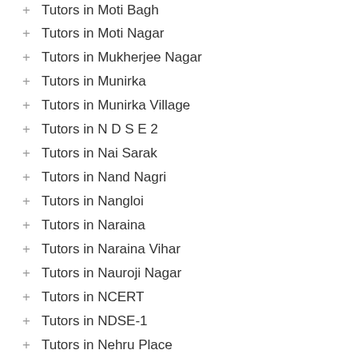+ Tutors in Moti Bagh
+ Tutors in Moti Nagar
+ Tutors in Mukherjee Nagar
+ Tutors in Munirka
+ Tutors in Munirka Village
+ Tutors in N D S E 2
+ Tutors in Nai Sarak
+ Tutors in Nand Nagri
+ Tutors in Nangloi
+ Tutors in Naraina
+ Tutors in Naraina Vihar
+ Tutors in Nauroji Nagar
+ Tutors in NCERT
+ Tutors in NDSE-1
+ Tutors in Nehru Place